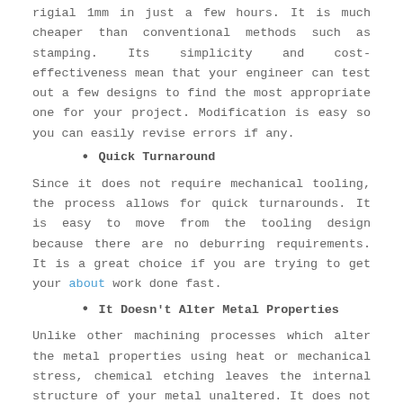rigial 1mm in just a few hours. It is much cheaper than conventional methods such as stamping. Its simplicity and cost-effectiveness mean that your engineer can test out a few designs to find the most appropriate one for your project. Modification is easy so you can easily revise errors if any.
Quick Turnaround
Since it does not require mechanical tooling, the process allows for quick turnarounds. It is easy to move from the tooling design because there are no deburring requirements. It is a great choice if you are trying to get your about work done fast.
It Doesn't Alter Metal Properties
Unlike other machining processes which alter the metal properties using heat or mechanical stress, chemical etching leaves the internal structure of your metal unaltered. It does not have any effect on the ductility or grain structure of your metal.
It is Repeatable at Low Costs
If your project requires you to make large productions, etching is the right option since the tooling doesn't change regardless of the number of parts. You can use on one or thousands of parts. You